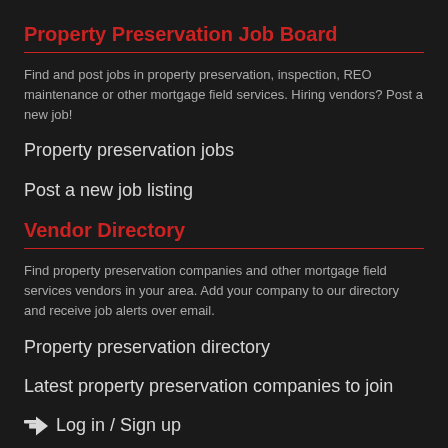Property Preservation Job Board
Find and post jobs in property preservation, inspection, REO maintenance or other mortgage field services. Hiring vendors? Post a new job!
Property preservation jobs
Post a new job listing
Vendor Directory
Find property preservation companies and other mortgage field services vendors in your area. Add your company to our directory and receive job alerts over email.
Property preservation directory
Latest property preservation companies to join
➨  Log in / Sign up